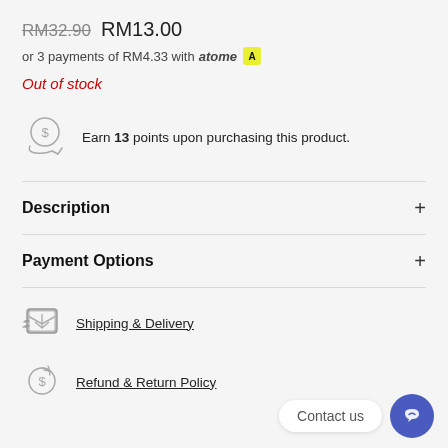RM32.90 RM13.00
or 3 payments of RM4.33 with atome
Out of stock
Earn 13 points upon purchasing this product.
Description
Payment Options
Shipping & Delivery
Refund & Return Policy
Contact us